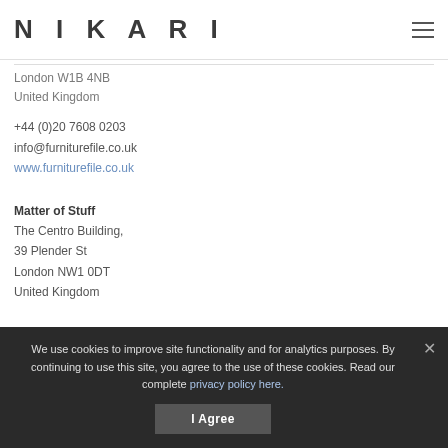NIKARI
London W1B 4NB
United Kingdom
+44 (0)20 7608 0203
info@furniturefile.co.uk
www.furniturefile.co.uk
Matter of Stuff
The Centro Building,
39 Plender St
London NW1 0DT
United Kingdom
We use cookies to improve site functionality and for analytics purposes. By continuing to use this site, you agree to the use of these cookies. Read our complete privacy policy here.
I Agree